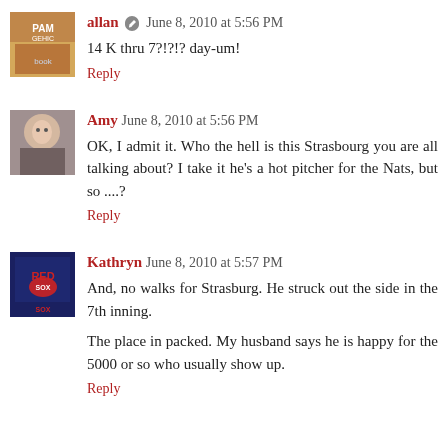allan — June 8, 2010 at 5:56 PM
14 K thru 7?!?!? day-um!
Reply
Amy — June 8, 2010 at 5:56 PM
OK, I admit it. Who the hell is this Strasbourg you are all talking about? I take it he's a hot pitcher for the Nats, but so ....?
Reply
Kathryn — June 8, 2010 at 5:57 PM
And, no walks for Strasburg. He struck out the side in the 7th inning.
The place in packed. My husband says he is happy for the 5000 or so who usually show up.
Reply